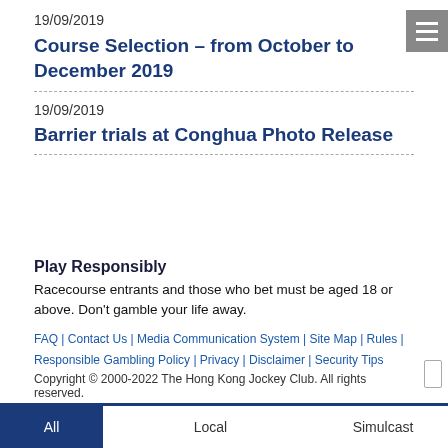19/09/2019
Course Selection – from October to December 2019
19/09/2019
Barrier trials at Conghua Photo Release
Play Responsibly
Racecourse entrants and those who bet must be aged 18 or above. Don't gamble your life away.
FAQ | Contact Us | Media Communication System | Site Map | Rules | Responsible Gambling Policy | Privacy | Disclaimer | Security Tips
Copyright © 2000-2022 The Hong Kong Jockey Club. All rights reserved.
All | Local | Simulcast